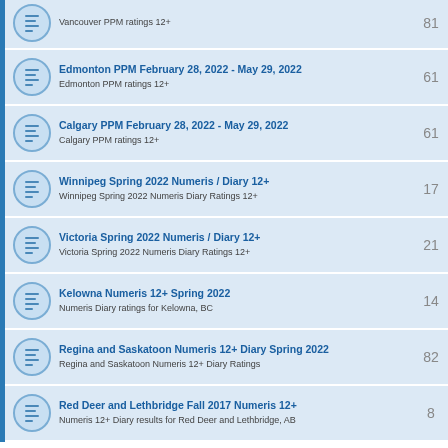Vancouver PPM ratings 12+ | 81
Edmonton PPM February 28, 2022 - May 29, 2022 | Edmonton PPM ratings 12+ | 61
Calgary PPM February 28, 2022 - May 29, 2022 | Calgary PPM ratings 12+ | 61
Winnipeg Spring 2022 Numeris / Diary 12+ | Winnipeg Spring 2022 Numeris Diary Ratings 12+ | 17
Victoria Spring 2022 Numeris / Diary 12+ | Victoria Spring 2022 Numeris Diary Ratings 12+ | 21
Kelowna Numeris 12+ Spring 2022 | Numeris Diary ratings for Kelowna, BC | 14
Regina and Saskatoon Numeris 12+ Diary Spring 2022 | Regina and Saskatoon Numeris 12+ Diary Ratings | 82
Red Deer and Lethbridge Fall 2017 Numeris 12+ | Numeris 12+ Diary results for Red Deer and Lethbridge, AB | 8